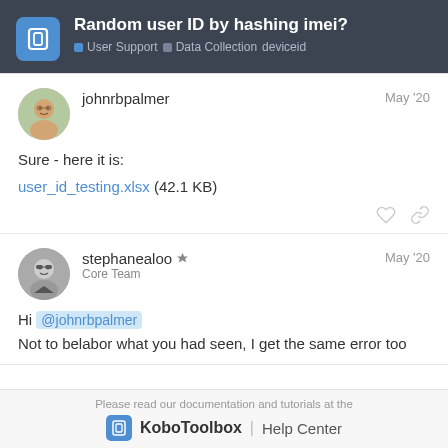Random user ID by hashing imei? | User Support | Data Collection | deviceid
johnrbpalmer — May '20
Sure - here it is:
user_id_testing.xlsx (42.1 KB)
stephanealoo (Core Team) — May '20
Hi @johnrbpalmer
Not to belabor what you had seen, I get the same error too
Please read our documentation and tutorials at the KoboToolbox | Help Center